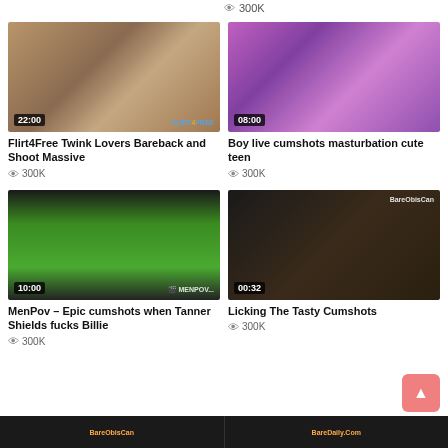👁 300K
[Figure (screenshot): Video thumbnail – two people on bed, duration 22:00, Flirt4Free watermark]
Flirt4Free Twink Lovers Bareback and Shoot Massive
👁 300K
[Figure (screenshot): Video thumbnail – person in pink-lit room, duration 08:00]
Boy live cumshots masturbation cute teen
👁 300K
[Figure (screenshot): Video thumbnail – green shorts close-up, duration 10:00, MenPov watermark]
MenPov – Epic cumshots when Tanner Shields fucks Billie
👁 300K
[Figure (screenshot): Video thumbnail – dark close-up hands, duration 00:32]
Licking The Tasty Cumshots
👁 300K